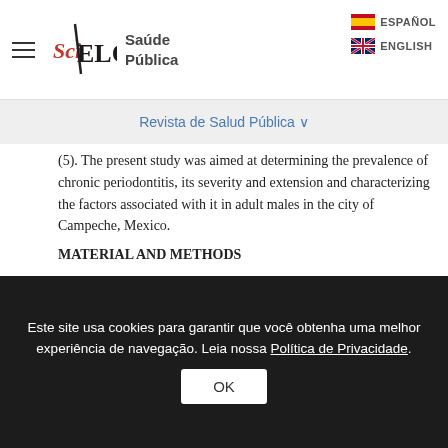SciELO Saúde Pública — ESPAÑOL | ENGLISH
Revista de Salud Pública
(5). The present study was aimed at determining the prevalence of chronic periodontitis, its severity and extension and characterizing the factors associated with it in adult males in the city of Campeche, Mexico.
MATERIAL AND METHODS
Study design and subject selection This study complied with specifications for protecting study participants and adhered to the Universidad Autónoma de Campeche's ethical regulations (being the state
Este site usa cookies para garantir que você obtenha uma melhor experiência de navegação. Leia nossa Política de Privacidade.